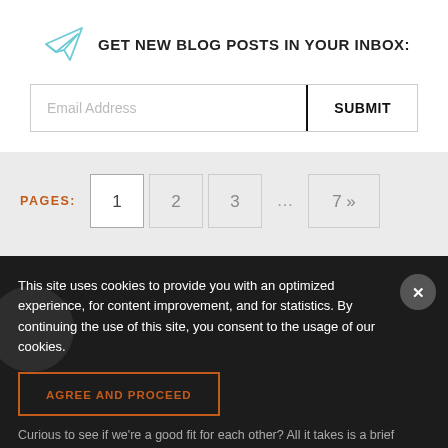GET NEW BLOG POSTS IN YOUR INBOX:
[Figure (screenshot): Email subscription form with Email Address input field and SUBMIT button]
PAGES: 1 2 3 ... 7»
This site uses cookies to provide you with an optimized experience, for content improvement, and for statistics. By continuing the use of this site, you consent to the usage of our cookies.
AGREE AND PROCEED
Curious to see if we're a good fit for each other? All it takes is a brief conversation with a TCI advisor to find out. Fill out